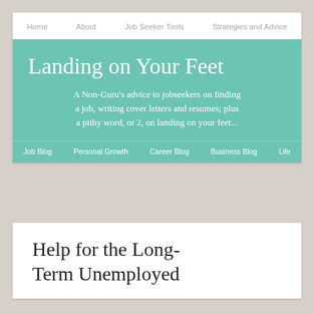Home   About   Job Seeker Tools   Strategies and Advice
Landing on Your Feet
A Non-Guru's advice to jobseekers on finding a job, writing cover letters and resumes; plus a pithy word, or 2, on landing on your feet...
Job Blog   Personal Growth   Career Blog   Business Blog   Life
Help for the Long-Term Unemployed